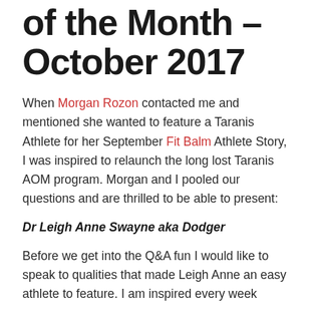Taranis Athlete of the Month – October 2017
When Morgan Rozon contacted me and mentioned she wanted to feature a Taranis Athlete for her September Fit Balm Athlete Story, I was inspired to relaunch the long lost Taranis AOM program. Morgan and I pooled our questions and are thrilled to be able to present:
Dr Leigh Anne Swayne aka Dodger
Before we get into the Q&A fun I would like to speak to qualities that made Leigh Anne an easy athlete to feature. I am inspired every week